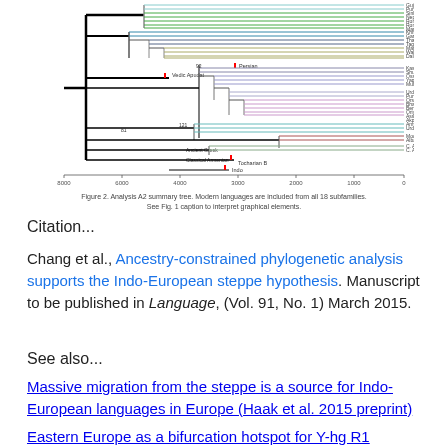[Figure (other): Phylogenetic tree diagram (Analysis A2 summary tree) showing language branches with time scale from 8000 to 0, including various Indo-European language groups with colored branches]
Figure 2. Analysis A2 summary tree. Modern languages are included from all 18 subfamilies. See Fig. 1 caption to interpret graphical elements.
Citation...
Chang et al., Ancestry-constrained phylogenetic analysis supports the Indo-European steppe hypothesis. Manuscript to be published in Language, (Vol. 91, No. 1) March 2015.
See also...
Massive migration from the steppe is a source for Indo-European languages in Europe (Haak et al. 2015 preprint)
Eastern Europe as a bifurcation hotspot for Y-hg R1